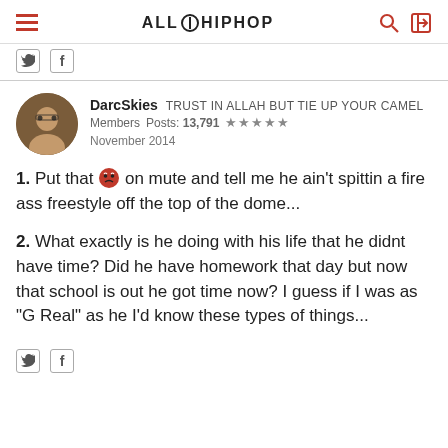ALL HIPHOP
DarcSkies  TRUST IN ALLAH BUT TIE UP YOUR CAMEL
Members  Posts: 13,791  ★★★★★
November 2014
1. Put that 😡 on mute and tell me he ain't spittin a fire ass freestyle off the top of the dome...
2. What exactly is he doing with his life that he didnt have time? Did he have homework that day but now that school is out he got time now? I guess if I was as "G Real" as he I'd know these types of things...